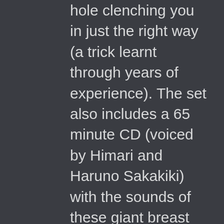hole clenching you in just the right way (a trick learnt through years of experience). The set also includes a 65 minute CD (voiced by Himari and Haruno Sakakiki) with the sounds of these giant breast MILF enjoying their threesome. The lubricant in the pack is a wet jukujo pussy drippings style lube.. The packaging is very utilitarian for storing the Elbow Grease Original Formula Quickie in fact, you probably won't want to use anything else. The real problem is that not only is it extremely difficult, if not impossible, to read the packaging, there are no instructions or any other indication as to what you're supposed to do